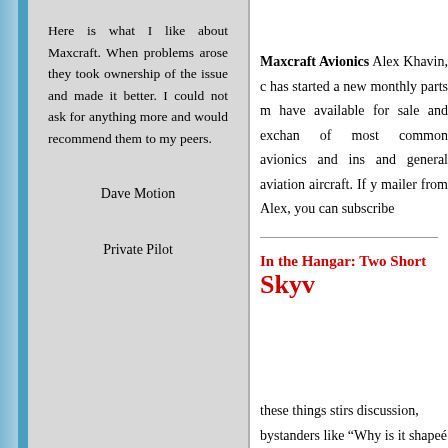Here is what I like about Maxcraft. When problems arose they took ownership of the issue and made it better. I could not ask for anything more and would recommend them to my peers.
Dave Motion

Private Pilot
More Successes
Maxcraft Avionics Alex Khavin, c has started a new monthly parts m have available for sale and exchan of most common avionics and ins and general aviation aircraft. If y mailer from Alex, you can subscribe
In the Hangar: Two Short Skyv
these things stirs discussion, bystanders like "Why is it shaped